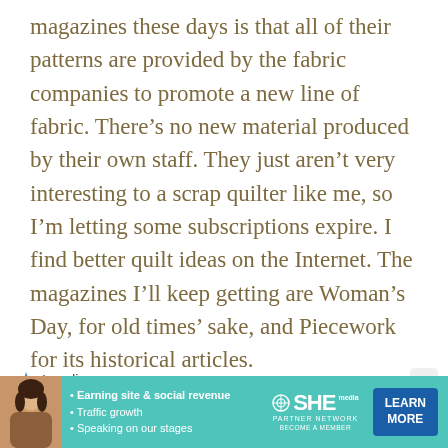magazines these days is that all of their patterns are provided by the fabric companies to promote a new line of fabric. There's no new material produced by their own staff. They just aren't very interesting to a scrap quilter like me, so I'm letting some subscriptions expire. I find better quilt ideas on the Internet. The magazines I'll keep getting are Woman's Day, for old times' sake, and Piecework for its historical articles.
Loading...
[Figure (infographic): Advertisement banner for SHE Partner Network showing a woman, bullet points about earning site & social revenue, traffic growth, speaking on our stages, with SHE Partner Network logo and a Learn More button.]